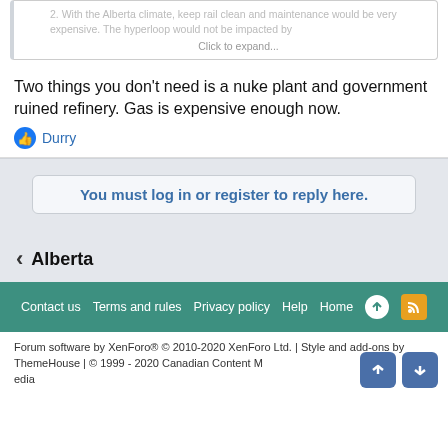2. With the Alberta climate, keep rail clean and maintenance would be very expensive. The hyperloop would not be impacted by
Click to expand...
Two things you don't need is a nuke plant and government ruined refinery. Gas is expensive enough now.
Durry
You must log in or register to reply here.
Alberta
Contact us   Terms and rules   Privacy policy   Help   Home
Forum software by XenForo® © 2010-2020 XenForo Ltd. | Style and add-ons by ThemeHouse | © 1999 - 2020 Canadian Content Media